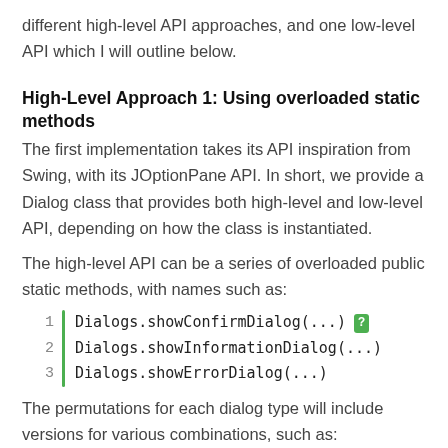different high-level API approaches, and one low-level API which I will outline below.
High-Level Approach 1: Using overloaded static methods
The first implementation takes its API inspiration from Swing, with its JOptionPane API. In short, we provide a Dialog class that provides both high-level and low-level API, depending on how the class is instantiated.
The high-level API can be a series of overloaded public static methods, with names such as:
[Figure (screenshot): Code block with line numbers 1-3 and a green vertical bar, showing: Dialogs.showConfirmDialog(...), Dialogs.showInformationDialog(...), Dialogs.showErrorDialog(...), with a green question-mark badge on line 1]
The permutations for each dialog type will include versions for various combinations, such as:
message,